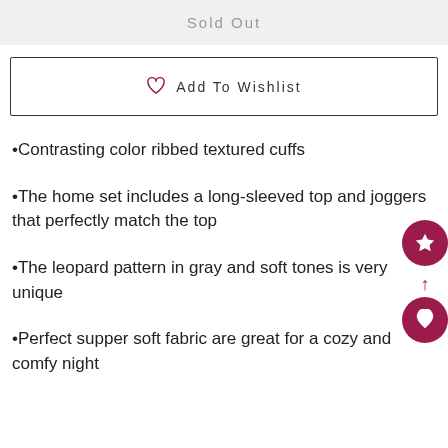Sold Out
♡ Add To Wishlist
•Contrasting color ribbed textured cuffs
•The home set includes a long-sleeved top and joggers that perfectly match the top
•The leopard pattern in gray and soft tones is very unique
•Perfect supper soft fabric are great for a cozy and comfy night